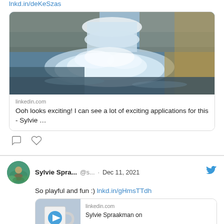lnkd.in/deKeSzas
[Figure (photo): Waterfall or water rushing from a stone structure into a pool, with golden/brown water on the right side]
linkedin.com
Ooh looks exciting! I can see a lot of exciting applications for this - Sylvie …
[Figure (screenshot): Comment/like action icons]
Sylvie Spra... @s... · Dec 11, 2021 — Twitter post: So playful and fun :) lnkd.in/gHmsTTdh
[Figure (screenshot): Thumbnail of a mug with a play button overlay, linked to linkedin.com Sylvie Spraakman on...]